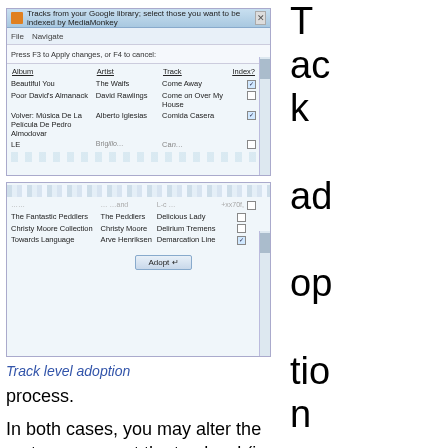[Figure (screenshot): Two screenshots of a 'Tracks from your Google library' dialog in MediaMonkey. Top screenshot shows Album, Artist, Track, Index columns with entries like Beautiful You/The Waifs/Come Away, Poor David's Almanack/David Rawlings/Come on Over My House, Volver Musica De La Pelicula De Pedro Almodovar/Alberto Iglesias/Comida Casera, torn edge at bottom. Bottom screenshot shows continuation with The Fantastic Peddlers/The Peddlers/Delicious Lady, Christy Moore Collection/Christy Moore/Delirium Tremens, Towards Language/Arve Henriksen/Demarcation Line, and an Adopt button. Right side has large text: 'T rack ad op tio n is a si mi lar'.]
Track level adoption
process.
In both cases, you may alter the sort sequence at the top level (ie. the batch selection phase, or in the adoption screen if these are too few candidates to require batches. … The sort sequence is locked once you have entered into a batch.